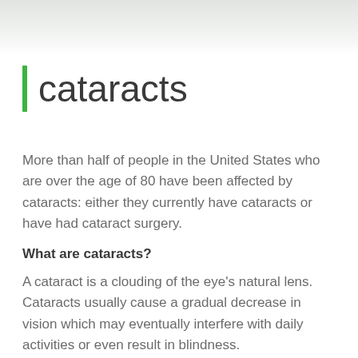[Figure (photo): Faded background photo (eye/medical related) at the top of the page]
cataracts
More than half of people in the United States who are over the age of 80 have been affected by cataracts: either they currently have cataracts or have had cataract surgery.
What are cataracts?
A cataract is a clouding of the eye's natural lens. Cataracts usually cause a gradual decrease in vision which may eventually interfere with daily activities or even result in blindness.